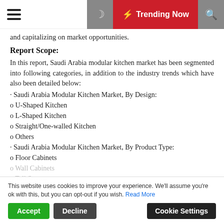Trending Now
and capitalizing on market opportunities.
Report Scope:
In this report, Saudi Arabia modular kitchen market has been segmented into following categories, in addition to the industry trends which have also been detailed below:
· Saudi Arabia Modular Kitchen Market, By Design:
o U-Shaped Kitchen
o L-Shaped Kitchen
o Straight/One-walled Kitchen
o Others
· Saudi Arabia Modular Kitchen Market, By Product Type:
o Floor Cabinets
o Wall Cabinets
o Tall Storage
· Saudi Arabia Modular Kitchen Market, By Sales
o Project Sales
This website uses cookies to improve your experience. We'll assume you're ok with this, but you can opt-out if you wish. Read More